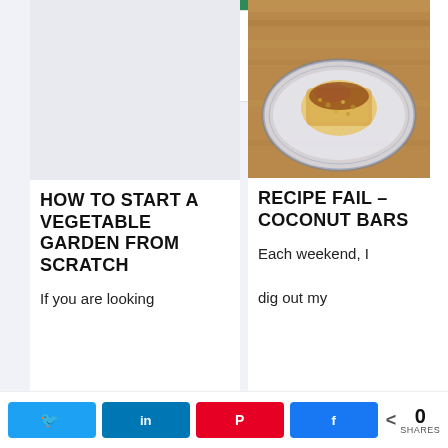[Figure (screenshot): Top area with green button and white box on right side, light blue-grey background]
[Figure (photo): Food photo: coconut bar on a decorative plate on a wooden table]
HOW TO START A VEGETABLE GARDEN FROM SCRATCH
If you are looking
RECIPE FAIL – COCONUT BARS
Each weekend, I dig out my
Twitter share, LinkedIn share, Pinterest share, Facebook share, 0 SHARES